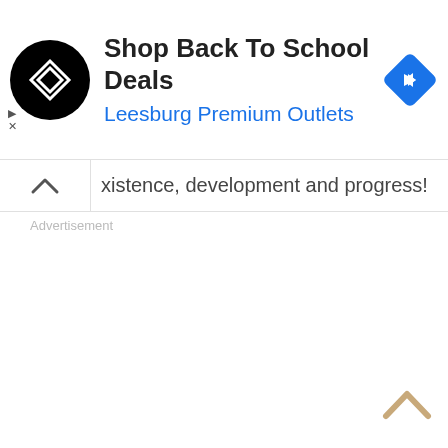[Figure (screenshot): Advertisement banner with black circle logo containing white infinity-like symbol, ad title 'Shop Back To School Deals', subtitle 'Leesburg Premium Outlets' in blue, and a blue diamond navigation icon on the right. Small ad indicator icons (play triangle and X) on the lower left.]
xistence, development and progress!
Advertisement
[Figure (other): Scroll-to-top chevron arrow in tan/gold color at bottom right]